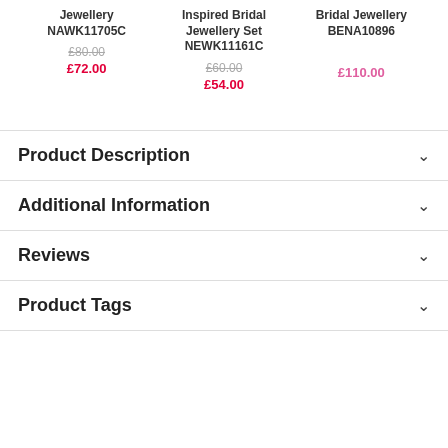Jewellery NAWK11705C
£80.00
£72.00
Inspired Bridal Jewellery Set NEWK11161C
£60.00
£54.00
Bridal Jewellery BENA10896
£110.00
Product Description
Additional Information
Reviews
Product Tags